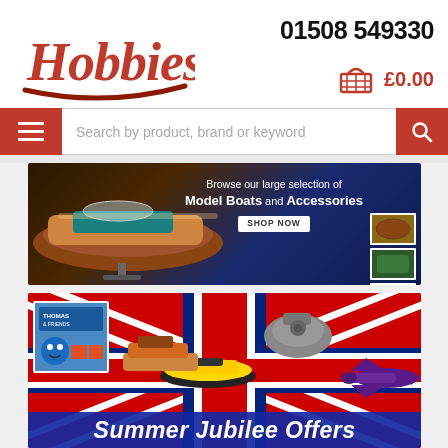Hobbies — 01508 549330 — £0.00
Search by product, brand or keyword
[Figure (photo): Banner showing a wooden model speedboat with text: Browse our large selection of Model Boats and Accessories. SHOP NOW button. Small photos of model boat kits on the right.]
[Figure (photo): Banner showing hobby products including Thomas & Friends train set, RC boat, wooden model, Millennium Falcon kit, and a purple airplane on a Union Jack background. Text: Summer Jubilee Offers]